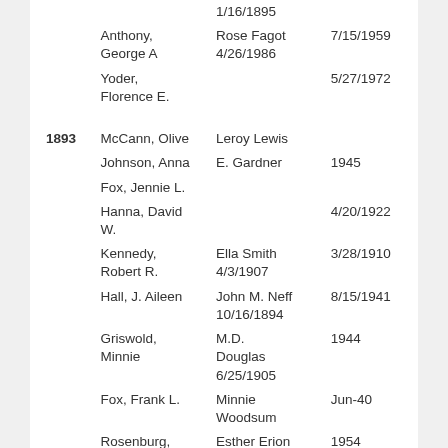| Year | Name | Spouse / Date | Date |
| --- | --- | --- | --- |
|  |  | 1/16/1895 |  |
|  | Anthony, George A | Rose Fagot 4/26/1986 | 7/15/1959 |
|  | Yoder, Florence E. |  | 5/27/1972 |
| 1893 | McCann, Olive | Leroy Lewis |  |
|  | Johnson, Anna | E. Gardner | 1945 |
|  | Fox, Jennie L. |  |  |
|  | Hanna, David W. |  | 4/20/1922 |
|  | Kennedy, Robert R. | Ella Smith 4/3/1907 | 3/28/1910 |
|  | Hall, J. Aileen | John M. Neff 10/16/1894 | 8/15/1941 |
|  | Griswold, Minnie | M.D. Douglas 6/25/1905 | 1944 |
|  | Fox, Frank L. | Minnie Woodsum | Jun-40 |
|  | Rosenburg, Claude C. | Esther Erion 8/7/1898 | 1954 |
|  | Woodsum, Minnie | Frank L. Fox | Mar-47 |